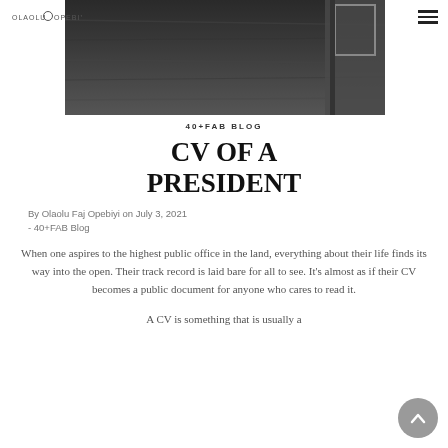Olaolu Opebiyi logo and hamburger menu
[Figure (photo): Black and white photo of a wooden surface or desk, partially visible, with a framed item or door in the background]
40+FAB BLOG
CV OF A PRESIDENT
By Olaolu Faj Opebiyi on July 3, 2021 - 40+FAB Blog
When one aspires to the highest public office in the land, everything about their life finds its way into the open. Their track record is laid bare for all to see. It's almost as if their CV becomes a public document for anyone who cares to read it.
A CV is something that is usually a